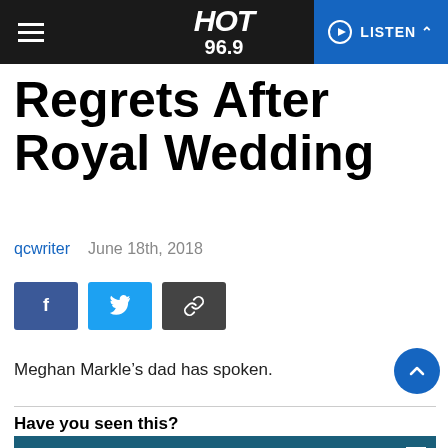HOT 96.9 | LISTEN
Regrets After Royal Wedding
qcwriter   June 18th, 2018
[Figure (other): Social share buttons: Facebook (blue), Twitter (light blue), Link (dark gray)]
Meghan Markle’s dad has spoken.
Have you seen this?
Emily Ratajkowski Just Broke the Cardinal Rule of Hair ...